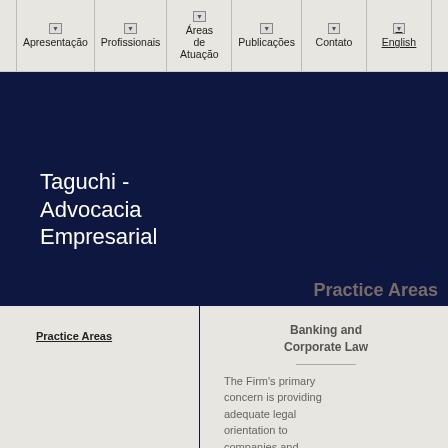Apresentação | Profissionais | Áreas de Atuação | Publicações | Contato | English
Taguchi - Advocacia Empresarial
Practice Areas
Practice Areas
Banking and Corporate Law
The Firm's primary concern is providing adequate legal orientation to companies and individuals...